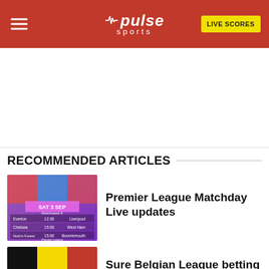pulse sports | LIVE SCORES
RECOMMENDED ARTICLES
[Figure (screenshot): Premier League Matchday fixture card showing SAT 3 SEP matches: Everton vs Liverpool 12:30, Chelsea vs West Ham 15:00, Nott'm Forest vs Bournemouth 15:00]
Premier League Matchday Live updates
[Figure (photo): Belgian flag horizontal stripes: black, yellow, red]
Sure Belgian League betting